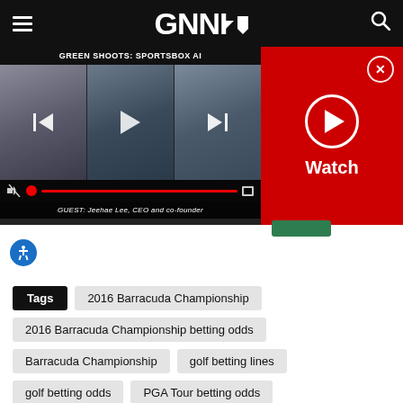GNNI
[Figure (screenshot): Video player showing 'GREEN SHOOTS: SPORTSBOX AI' with two video thumbnails side by side. Guest caption: GUEST: Jeehae Lee, CEO and co-founder. Red watch panel on right with play button and Watch label, close button at top right.]
Tags  2016 Barracuda Championship  2016 Barracuda Championship betting odds  Barracuda Championship  golf betting lines  golf betting odds  PGA Tour betting odds